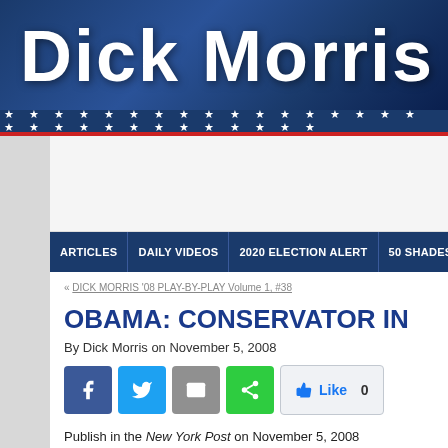Dick Morris
[Figure (screenshot): Website header banner with 'Dick Morris' text on blue gradient background with stars bar]
ARTICLES | DAILY VIDEOS | 2020 ELECTION ALERT | 50 SHADES
« DICK MORRIS '08 PLAY-BY-PLAY Volume 1, #38
OBAMA: CONSERVATOR IN
By Dick Morris on November 5, 2008
Publish in the New York Post on November 5, 2008
While the Democrats and Barack Obama won big yeste...